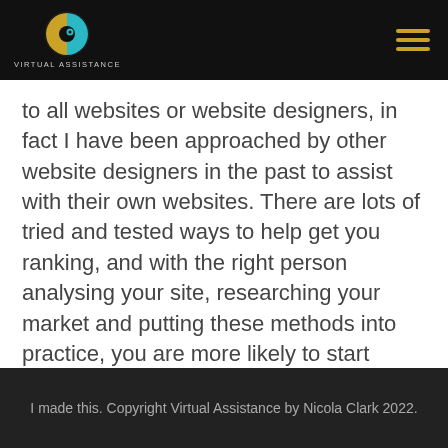VIRTUAL ASSISTANCE
to all websites or website designers, in fact I have been approached by other website designers in the past to assist with their own websites. There are lots of tried and tested ways to help get you ranking, and with the right person analysing your site, researching your market and putting these methods into practice, you are more likely to start ranking quickly.
I made this. Copyright Virtual Assistance by Nicola Clark 2022.